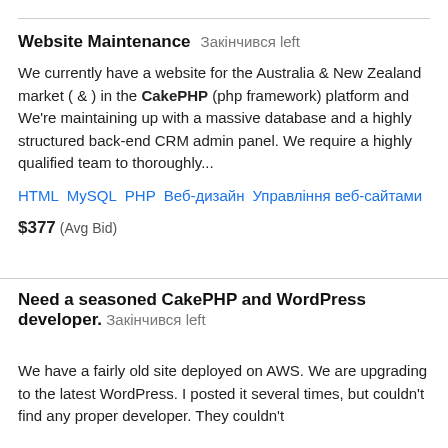Website Maintenance  Закінчився left
We currently have a website for the Australia & New Zealand market ( & ) in the CakePHP (php framework) platform and We're maintaining up with a massive database and a highly structured back-end CRM admin panel. We require a highly qualified team to thoroughly...
HTML   MySQL   PHP   Веб-дизайн   Управління веб-сайтами
$377  (Avg Bid)
Need a seasoned CakePHP and WordPress developer.  Закінчився left
We have a fairly old site deployed on AWS. We are upgrading to the latest WordPress. I posted it several times, but couldn't find any proper developer. They couldn't